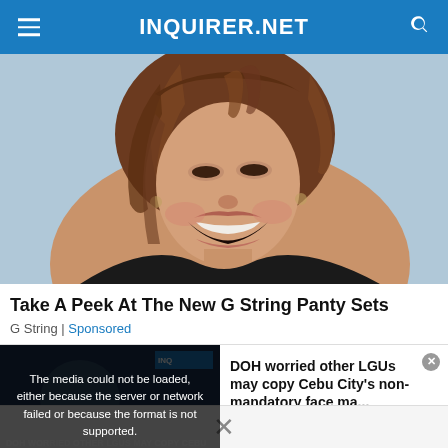INQUIRER.NET
[Figure (photo): Close-up portrait of a smiling woman with wavy brown hair wearing a black top, photographed against a light blue background.]
Take A Peek At The New G String Panty Sets
G String | Sponsored
[Figure (screenshot): Video player showing news segment about DOH worried other LGUs may copy Cebu City non-mandatory face mask rule. Shows error message: The media could not be loaded, either because the server or network failed or because the format is not supported.]
DOH worried other LGUs may copy Cebu City's non-mandatory face ma...